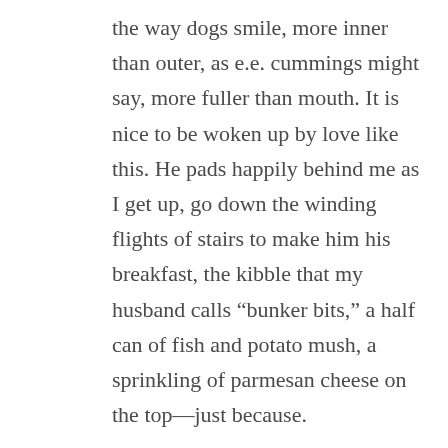the way dogs smile, more inner than outer, as e.e. cummings might say, more fuller than mouth. It is nice to be woken up by love like this. He pads happily behind me as I get up, go down the winding flights of stairs to make him his breakfast, the kibble that my husband calls “bunker bits,” a half can of fish and potato mush, a sprinkling of parmesan cheese on the top—just because.

The view from my kitchen window is the flatness of the Jersey Shore, a wide gray strip of Barnegat Bay, side strips of